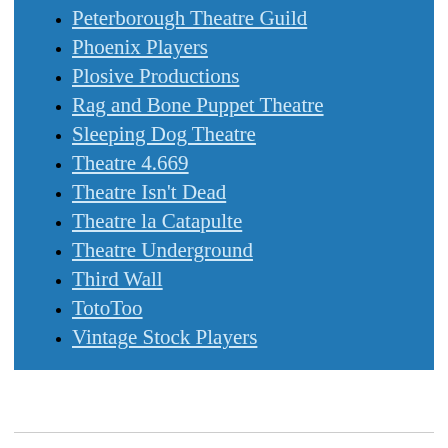Peterborough Theatre Guild
Phoenix Players
Plosive Productions
Rag and Bone Puppet Theatre
Sleeping Dog Theatre
Theatre 4.669
Theatre Isn't Dead
Theatre la Catapulte
Theatre Underground
Third Wall
TotoToo
Vintage Stock Players
Blog at WordPress.com.